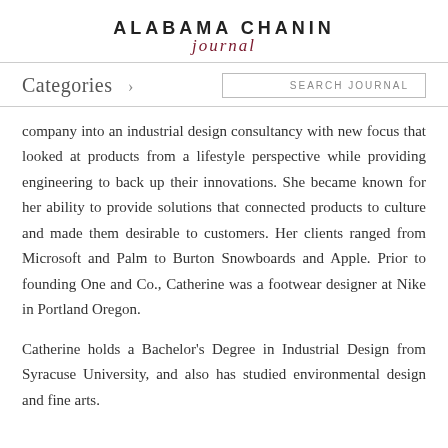ALABAMA CHANIN Journal
Categories >
SEARCH JOURNAL
company into an industrial design consultancy with new focus that looked at products from a lifestyle perspective while providing engineering to back up their innovations. She became known for her ability to provide solutions that connected products to culture and made them desirable to customers. Her clients ranged from Microsoft and Palm to Burton Snowboards and Apple. Prior to founding One and Co., Catherine was a footwear designer at Nike in Portland Oregon.
Catherine holds a Bachelor's Degree in Industrial Design from Syracuse University, and also has studied environmental design and fine arts.